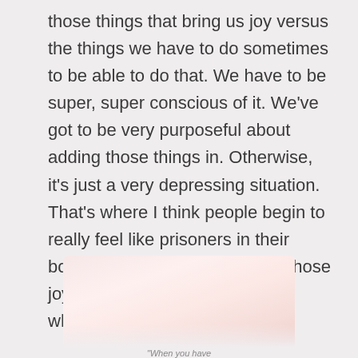those things that bring us joy versus the things we have to do sometimes to be able to do that. We have to be super, super conscious of it. We've got to be very purposeful about adding those things in. Otherwise, it's just a very depressing situation. That's where I think people begin to really feel like prisoners in their bodies—when they don't have those joyful things they can add in, whatever they are for you.
[Figure (photo): Soft pink/blush toned photo, partially visible at bottom of page, with caption text 'When you have']
"When you have